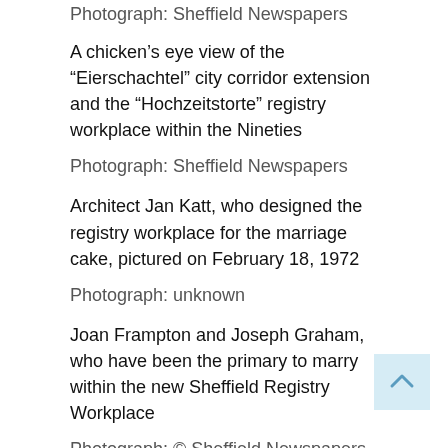Photograph: Sheffield Newspapers
A chicken's eye view of the “Eierschachtel” city corridor extension and the “Hochzeitstorte” registry workplace within the Nineties
Photograph: Sheffield Newspapers
Architect Jan Katt, who designed the registry workplace for the marriage cake, pictured on February 18, 1972
Photograph: unknown
Joan Frampton and Joseph Graham, who have been the primary to marry within the new Sheffield Registry Workplace
Photograph: © Sheffield Newspapers Ltd
Share this: